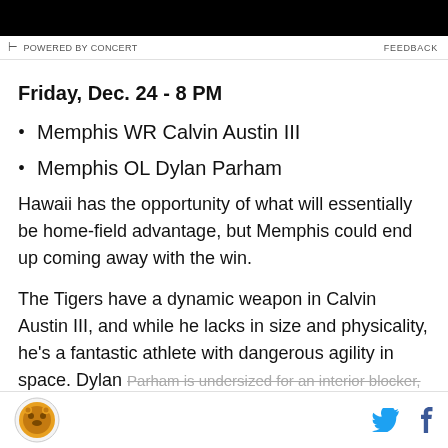[Figure (other): Black banner image at the top of the page]
POWERED BY CONCERT    FEEDBACK
Friday, Dec. 24 - 8 PM
Memphis WR Calvin Austin III
Memphis OL Dylan Parham
Hawaii has the opportunity of what will essentially be home-field advantage, but Memphis could end up coming away with the win.
The Tigers have a dynamic weapon in Calvin Austin III, and while he lacks in size and physicality, he's a fantastic athlete with dangerous agility in space. Dylan Parham is undersized for an interior blocker, but he's a
SB Nation logo | Twitter icon | Facebook icon